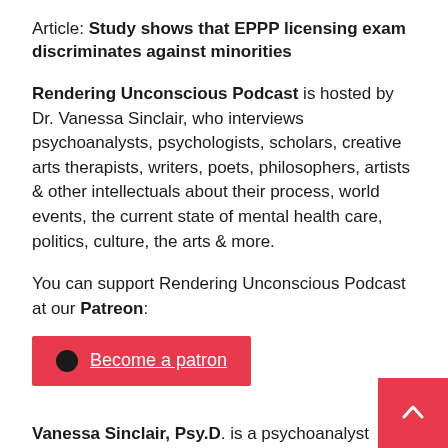Article: Study shows that EPPP licensing exam discriminates against minorities
Rendering Unconscious Podcast is hosted by Dr. Vanessa Sinclair, who interviews psychoanalysts, psychologists, scholars, creative arts therapists, writers, poets, philosophers, artists & other intellectuals about their process, world events, the current state of mental health care, politics, culture, the arts & more.
You can support Rendering Unconscious Podcast at our Patreon:
[Figure (other): Red Patreon button with circle dot logo and text 'Become a patron']
Vanessa Sinclair, Psy.D. is a psychoanalyst based Stoc who sees clients internationally, specializing in offering psychoanalytic treatment remotely and online. Her books